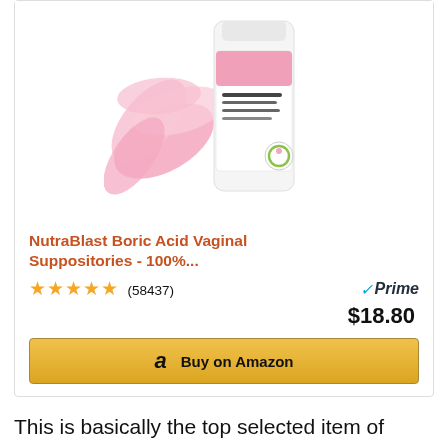[Figure (photo): Product photo of NutraBlast Boric Acid Vaginal Suppositories bottle with pink lotus flower decoration]
NutraBlast Boric Acid Vaginal Suppositories - 100%...
★★★★½ (58437)  ✓Prime  $18.80
Buy on Amazon
This is basically the top selected item of other customers purchasing products related to nom yourself simple vegan cooking. For additional choices, look at our